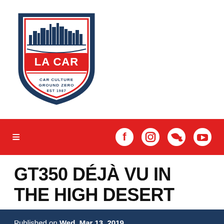[Figure (logo): LA CAR shield logo with city skyline, red text 'LA CAR', tagline 'CAR CULTURE GROUND ZERO EST 1987', navy and red colors]
≡   Facebook  Instagram  Twitter  YouTube
GT350 DÉJÀ VU IN THE HIGH DESERT
Published on Wed, Mar 13, 2019
By: Dave Wolin